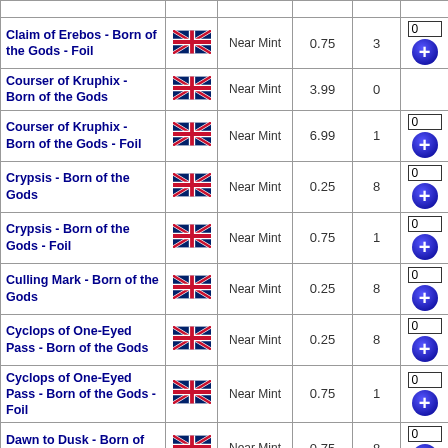| Card Name | Edition/Language | Condition | Price | Qty | Add |
| --- | --- | --- | --- | --- | --- |
| Claim of Erebos - Born of the Gods - Foil | UK flag | Near Mint | 0.75 | 3 | 0 [+] |
| Courser of Kruphix - Born of the Gods | UK flag | Near Mint | 3.99 | 0 |  |
| Courser of Kruphix - Born of the Gods - Foil | UK flag | Near Mint | 6.99 | 1 | 0 [+] |
| Crypsis - Born of the Gods | UK flag | Near Mint | 0.25 | 8 | 0 [+] |
| Crypsis - Born of the Gods - Foil | UK flag | Near Mint | 0.75 | 1 | 0 [+] |
| Culling Mark - Born of the Gods | UK flag | Near Mint | 0.25 | 8 | 0 [+] |
| Cyclops of One-Eyed Pass - Born of the Gods | UK flag | Near Mint | 0.25 | 8 | 0 [+] |
| Cyclops of One-Eyed Pass - Born of the Gods - Foil | UK flag | Near Mint | 0.75 | 1 | 0 [+] |
| Dawn to Dusk - Born of the Gods | UK flag | Near Mint | 0.75 | 8 | 0 [+] |